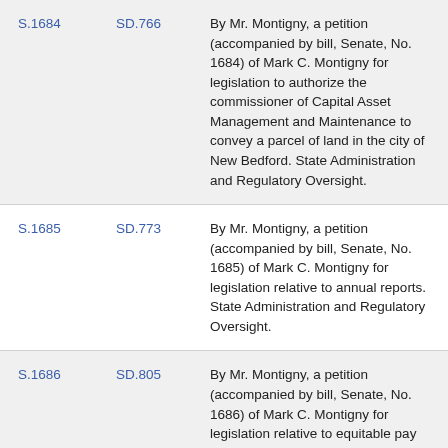| Bill | SD | Description |
| --- | --- | --- |
| S.1684 | SD.766 | By Mr. Montigny, a petition (accompanied by bill, Senate, No. 1684) of Mark C. Montigny for legislation to authorize the commissioner of Capital Asset Management and Maintenance to convey a parcel of land in the city of New Bedford. State Administration and Regulatory Oversight. |
| S.1685 | SD.773 | By Mr. Montigny, a petition (accompanied by bill, Senate, No. 1685) of Mark C. Montigny for legislation relative to annual reports. State Administration and Regulatory Oversight. |
| S.1686 | SD.805 | By Mr. Montigny, a petition (accompanied by bill, Senate, No. 1686) of Mark C. Montigny for legislation relative to equitable pay |